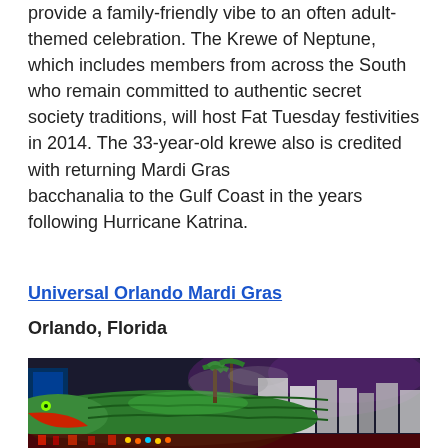provide a family-friendly vibe to an often adult-themed celebration. The Krewe of Neptune, which includes members from across the South who remain committed to authentic secret society traditions, will host Fat Tuesday festivities in 2014. The 33-year-old krewe also is credited with returning Mardi Gras bacchanalia to the Gulf Coast in the years following Hurricane Katrina.
Universal Orlando Mardi Gras
Orlando, Florida
[Figure (photo): Night-time parade photo showing a large illuminated green alligator float with red mouth open, surrounded by crowds and palm trees with purple smoky sky and bright city lights in the background, at Universal Orlando Mardi Gras.]